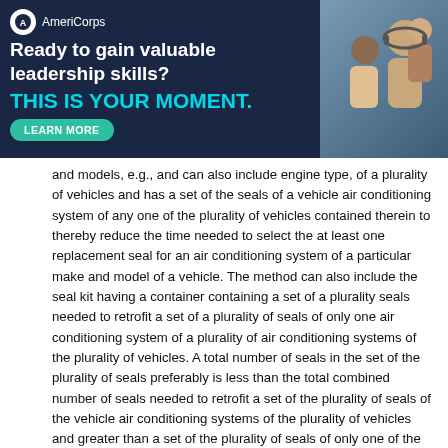[Figure (other): AmeriCorps advertisement banner with dark navy background, logo, headline 'Ready to gain valuable leadership skills?', subheadline 'THIS IS YOUR MOMENT.', a Learn More button, and a photo of people on the right side.]
and models, e.g., and can also include engine type, of a plurality of vehicles and has a set of the seals of a vehicle air conditioning system of any one of the plurality of vehicles contained therein to thereby reduce the time needed to select the at least one replacement seal for an air conditioning system of a particular make and model of a vehicle. The method can also include the seal kit having a container containing a set of a plurality seals needed to retrofit a set of a plurality of seals of only one air conditioning system of a plurality of air conditioning systems of the plurality of vehicles. A total number of seals in the set of the plurality of seals preferably is less than the total combined number of seals needed to retrofit a set of the plurality of seals of the vehicle air conditioning systems of the plurality of vehicles and greater than a set of the plurality of seals of only one of the vehicle air conditioning systems of the plurality of vehicles.
A method of doing business according to yet another embodiment of the present invention includes providing a seal kit having at least one of a set of a plurality of seals in the seal kit needed to make system fluid connections in a vehicle air conditioning system. The seal kit also is associated with an indication of at least one of a plurality of vehicles having the vehicle air conditioning system associated therewith, thereby reducing the amount of